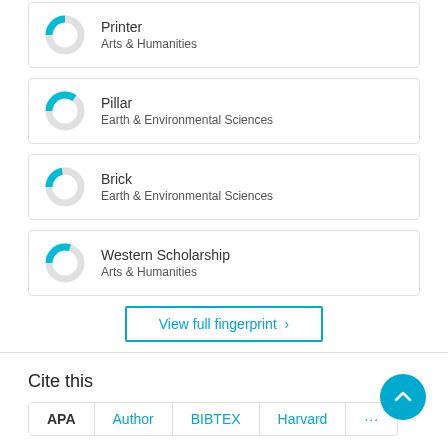[Figure (donut-chart): Donut chart for Printer - Arts & Humanities, partially filled in cyan]
Printer
Arts & Humanities
[Figure (donut-chart): Donut chart for Pillar - Earth & Environmental Sciences, partially filled in cyan]
Pillar
Earth & Environmental Sciences
[Figure (donut-chart): Donut chart for Brick - Earth & Environmental Sciences, small cyan fill]
Brick
Earth & Environmental Sciences
[Figure (donut-chart): Donut chart for Western Scholarship - Arts & Humanities, partially filled in cyan]
Western Scholarship
Arts & Humanities
View full fingerprint >
Cite this
APA  Author  BIBTEX  Harvard  ...